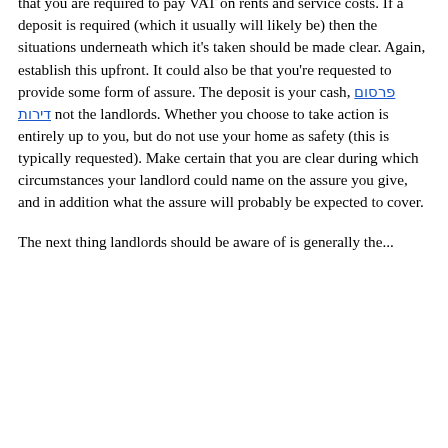geared up and פרסום דירות ready in all means so that a sudden assembly may be organized straight away. Ensure the room exudes as aura of warmth and comfort unless the coldness is intentional. Under these circumstances, make certain the equipment are in good condition because in case of emergency nobody would discover the decoration but final result of such meetings can absolutely get affected by the functioning of these tools.
It is a authorized requirement for any business property to have an EPC earlier than the lease is completed unless you're coming into into a license or פרסום דירות renting serviced workplace space. Double verify to ensure you won't be held accountable for paying these prices. That is normally the equal of three to six months' rent. Some buildings have been elected for VAT, which is able to imply that you are required to pay VAT on rents and service costs. If a deposit is required (which it usually will likely be) then the situations underneath which it's taken should be made clear. Again, establish this upfront. It could also be that you're requested to provide some form of assure. The deposit is your cash, פרסום דירות not the landlords. Whether you choose to take action is entirely up to you, but do not use your home as safety (this is typically requested). Make certain that you are clear during which circumstances your landlord could name on the assure you give, and in addition what the assure will probably be expected to cover.
The next thing landlords should...